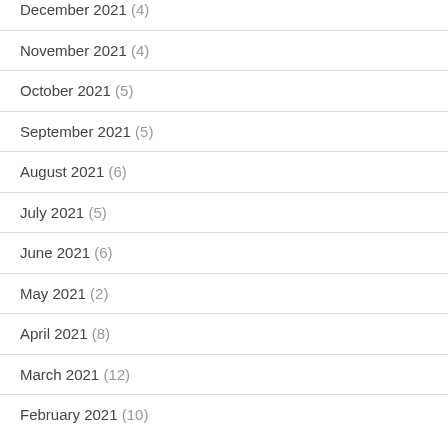December 2021 (4)
November 2021 (4)
October 2021 (5)
September 2021 (5)
August 2021 (6)
July 2021 (5)
June 2021 (6)
May 2021 (2)
April 2021 (8)
March 2021 (12)
February 2021 (10)